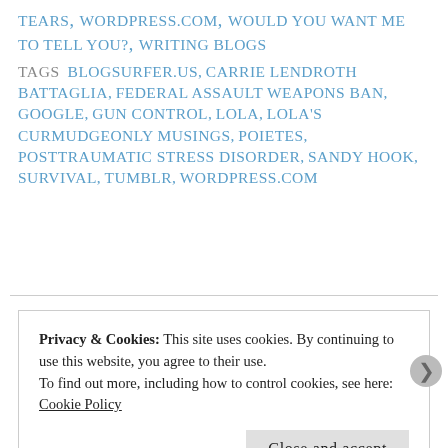TEARS, WORDPRESS.COM, WOULD YOU WANT ME TO TELL YOU?, WRITING BLOGS
TAGS  BLOGSURFER.US, CARRIE LENDROTH BATTAGLIA, FEDERAL ASSAULT WEAPONS BAN, GOOGLE, GUN CONTROL, LOLA, LOLA'S CURMUDGEONLY MUSINGS, POIETES, POSTTRAUMATIC STRESS DISORDER, SANDY HOOK, SURVIVAL, TUMBLR, WORDPRESS.COM
Privacy & Cookies: This site uses cookies. By continuing to use this website, you agree to their use.
To find out more, including how to control cookies, see here: Cookie Policy
Close and accept